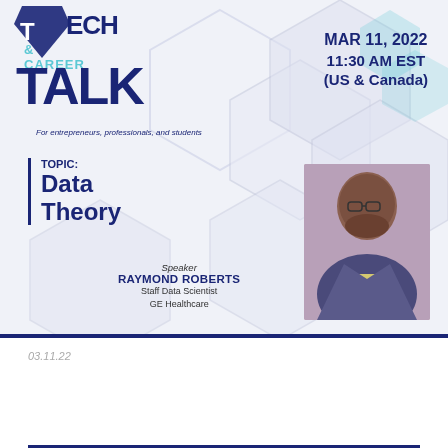[Figure (infographic): Tech & Career Talk event flyer with hexagon background graphics, date MAR 11, 2022 at 11:30 AM EST (US & Canada), topic Data Theory, speaker Raymond Roberts Staff Data Scientist GE Healthcare, with speaker photo]
03.11.22